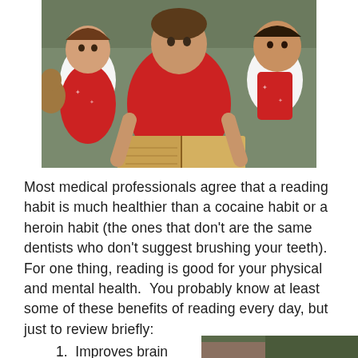[Figure (photo): A man in a red t-shirt sitting on a couch reading a book to two young girls dressed in matching red and white Christmas outfits. The girls are seated on either side of him.]
Most medical professionals agree that a reading habit is much healthier than a cocaine habit or a heroin habit (the ones that don't are the same dentists who don't suggest brushing your teeth).  For one thing, reading is good for your physical and mental health.  You probably know at least some of these benefits of reading every day, but just to review briefly:
1.  Improves brain
[Figure (photo): Partial view of a small photo in the bottom right area of the page, partially cut off.]